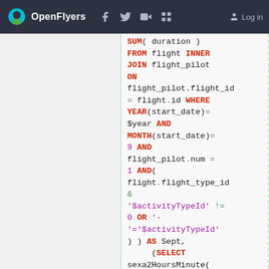OpenFlyers — Navigation bar with logo, social icons, Log in
SUM( duration )
FROM flight INNER
JOIN flight_pilot
ON
flight_pilot.flight_id
= flight.id WHERE
YEAR(start_date)=
$year AND
MONTH(start_date)=
9 AND
flight_pilot.num =
1 AND(
flight.flight_type_id
&
'$activityTypeId' !=
0 OR '-
'='$activityTypeId'
) ) AS Sept,
     (SELECT
sexa2HoursMinute(
SUM( duration ) )
FROM flight INNER
JOIN flight_pilot
ON
flight_pilot.flight_id
= flight.id WHERE
YEAR(start_date)=